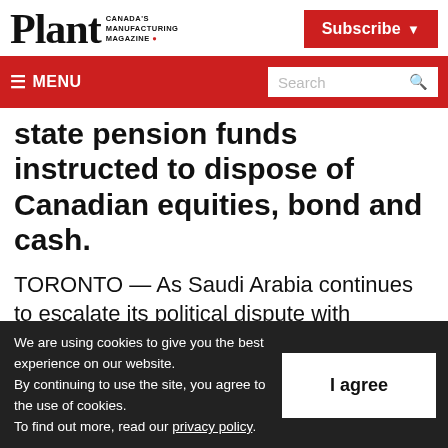Plant Canada's Manufacturing Magazine | Subscribe
≡ MENU | Search
state pension funds instructed to dispose of Canadian equities, bond and cash.
TORONTO — As Saudi Arabia continues to escalate its political dispute with Canada, experts say Canadian businesses shouldn't expect any quick resolution.
We are using cookies to give you the best experience on our website. By continuing to use the site, you agree to the use of cookies. To find out more, read our privacy policy.